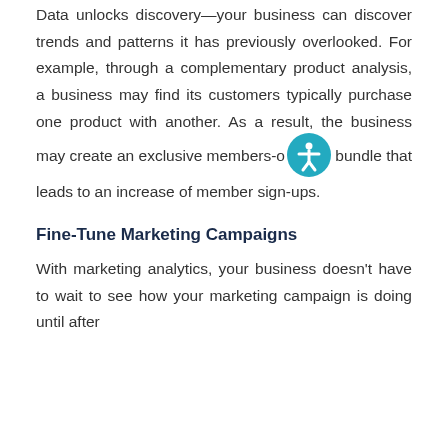Data unlocks discovery—your business can discover trends and patterns it has previously overlooked. For example, through a complementary product analysis, a business may find its customers typically purchase one product with another. As a result, the business may create an exclusive members-only bundle that leads to an increase of member sign-ups.
Fine-Tune Marketing Campaigns
With marketing analytics, your business doesn't have to wait to see how your marketing campaign is doing until after